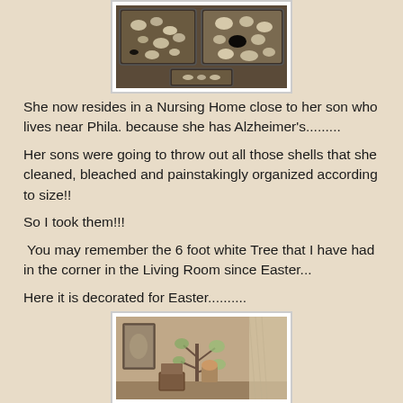[Figure (photo): Photo of seashells organized in clear glass trays, arranged by size on a dark surface]
She now resides in a Nursing Home close to her son who lives near Phila. because she has Alzheimer's.........
Her sons were going to throw out all those shells that she cleaned, bleached and painstakingly organized according to size!!
So I took them!!!
You may remember the 6 foot white Tree that I have had in the corner in the Living Room since Easter...
Here it is decorated for Easter..........
[Figure (photo): Photo of a living room corner with a decorated tree, artwork on walls, and decorative items]